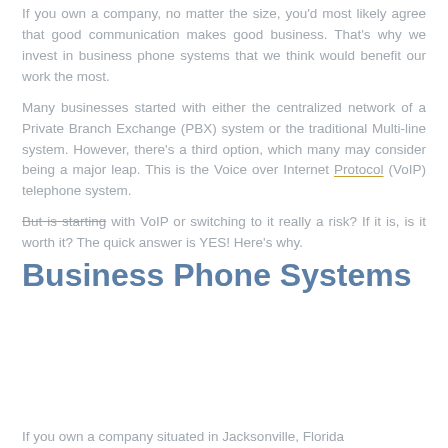If you own a company, no matter the size, you'd most likely agree that good communication makes good business. That's why we invest in business phone systems that we think would benefit our work the most.
Many businesses started with either the centralized network of a Private Branch Exchange (PBX) system or the traditional Multi-line system. However, there's a third option, which many may consider being a major leap. This is the Voice over Internet Protocol (VoIP) telephone system.
But is starting with VoIP or switching to it really a risk? If it is, is it worth it? The quick answer is YES! Here's why.
Business Phone Systems
If you own a company situated in Jacksonville, Florida